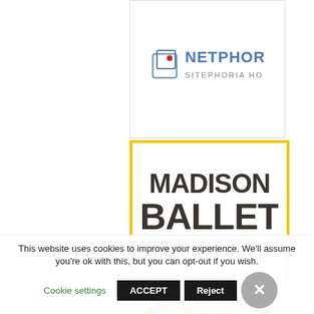[Figure (logo): Netphoria Sitephoria Hosting logo — stylized cube icon in blue/grey with text 'Netphoria' in blue caps and 'Sitephoria Hosting' in grey below]
[Figure (logo): Madison Ballet Est. 1981 logo — bold dark text 'MADISON BALLET' with 'EST. 1981' below a horizontal line, inside a gold/yellow border frame]
[Figure (logo): Budget Bicycle Center logo — oval badge in yellow and blue with text 'Budget Bicycle Center' and bicycle graphic]
This website uses cookies to improve your experience. We'll assume you're ok with this, but you can opt-out if you wish.
Cookie settings   ACCEPT   Reject